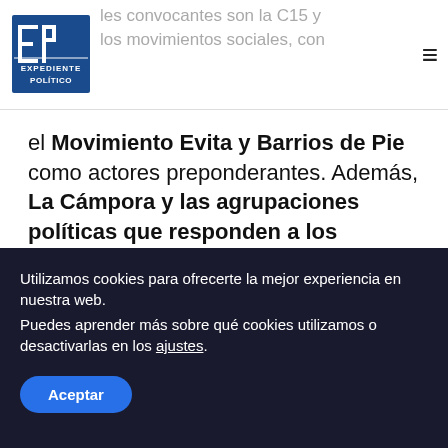Expediente Político
…principales convocantes son la C15 y los movimientos sociales, con el Movimiento Evita y Barrios de Pie como actores preponderantes. Además, La Cámpora y las agrupaciones políticas que responden a los intendentes del conurbano.
C5N
Utilizamos cookies para ofrecerte la mejor experiencia en nuestra web. Puedes aprender más sobre qué cookies utilizamos o desactivarlas en los ajustes.